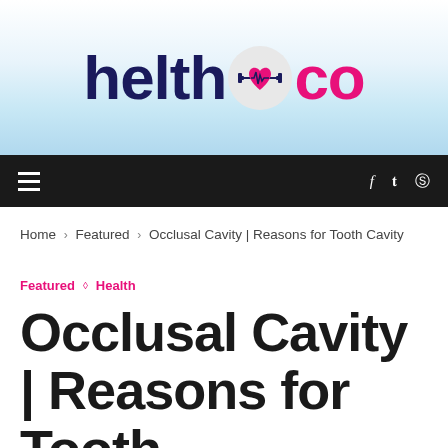[Figure (logo): helth.co logo with watercolor background — dark navy 'helth' text, circular icon with heart/dumbbell graphic, pink 'co' text]
≡  f  𝕥  ℗
Home > Featured > Occlusal Cavity | Reasons for Tooth Cavity
Featured  ◇  Health
Occlusal Cavity | Reasons for Tooth